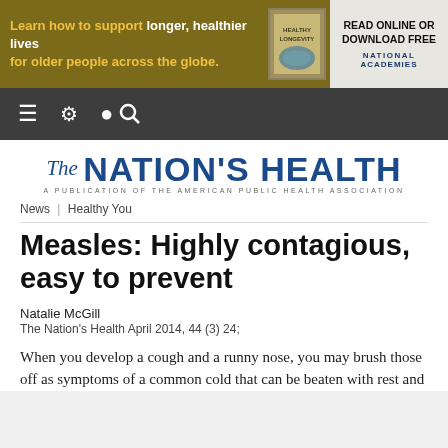[Figure (other): Advertisement banner: olive/gold background with text 'Learn how to support longer, healthier lives for older people across the globe.' with book image and National Academies read online or download free logo]
Navigation bar with menu, settings, and search icons
[Figure (logo): The Nation's Health - A Publication of the American Public Health Association logo]
News | Healthy You
Measles: Highly contagious, easy to prevent
Natalie McGill
The Nation's Health April 2014, 44 (3) 24;
When you develop a cough and a runny nose, you may brush those off as symptoms of a common cold that can be beaten with rest and